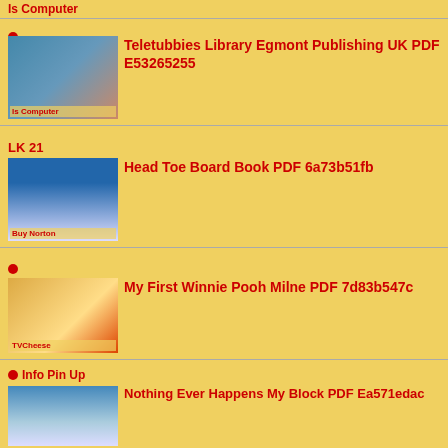Teletubbies Library Egmont Publishing UK PDF E53265255
Head Toe Board Book PDF 6a73b51fb
My First Winnie Pooh Milne PDF 7d83b547c
Nothing Ever Happens My Block PDF Ea571edac
Eager Reader Bible Stories Grow PDF 09ec7caac
Spelling Through Phonics 30th Anniversary PDF